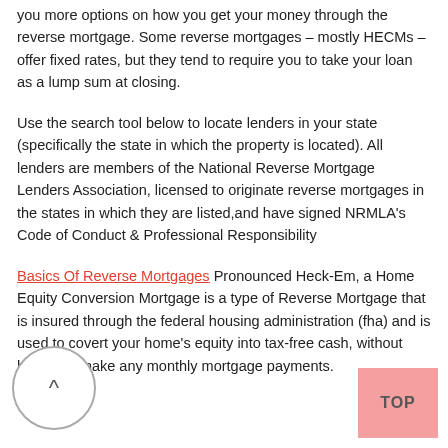you more options on how you get your money through the reverse mortgage. Some reverse mortgages – mostly HECMs – offer fixed rates, but they tend to require you to take your loan as a lump sum at closing.
Use the search tool below to locate lenders in your state (specifically the state in which the property is located). All lenders are members of the National Reverse Mortgage Lenders Association, licensed to originate reverse mortgages in the states in which they are listed,and have signed NRMLA's Code of Conduct & Professional Responsibility
Basics Of Reverse Mortgages Pronounced Heck-Em, a Home Equity Conversion Mortgage is a type of Reverse Mortgage that is insured through the federal housing administration (fha) and is used to covert your home's equity into tax-free cash, without having to make any monthly mortgage payments.